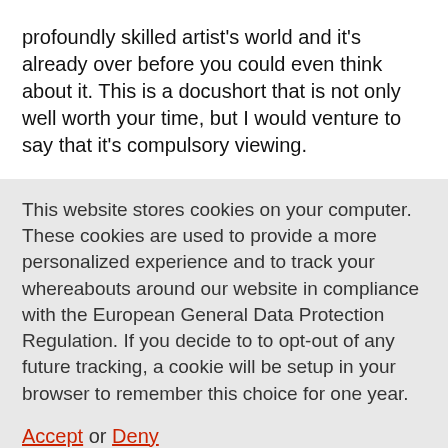profoundly skilled artist's world and it's already over before you could even think about it. This is a docushort that is not only well worth your time, but I would venture to say that it's compulsory viewing.
This website stores cookies on your computer. These cookies are used to provide a more personalized experience and to track your whereabouts around our website in compliance with the European General Data Protection Regulation. If you decide to to opt-out of any future tracking, a cookie will be setup in your browser to remember this choice for one year.
Accept or Deny